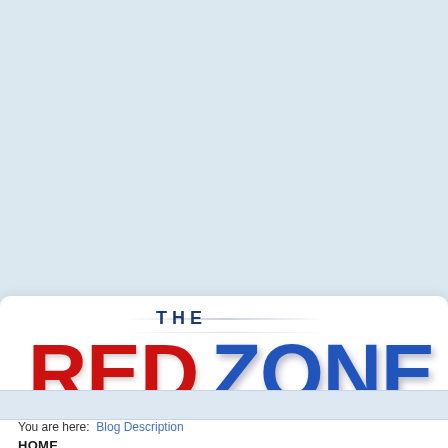[Figure (logo): The Red Zone logo — THE in small blue text above large RED in red and ZONE in blue text]
You are here:  Blog Description
HOME
FEATURES »
SCHEDULE »
FREE AGENCY »
Titans agree to terms with